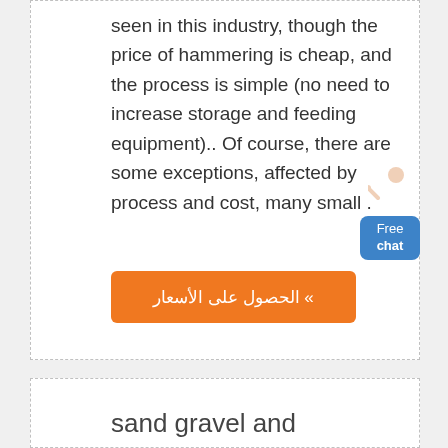seen in this industry, though the price of hammering is cheap, and the process is simple (no need to increase storage and feeding equipment).. Of course, there are some exceptions, affected by process and cost, many small .
» الحصول على الأسعار
[Figure (illustration): Chat widget with person figure and blue Free chat button]
sand gravel and aggregates machines